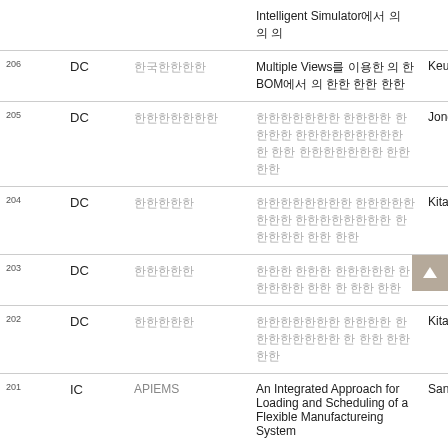| No | Type | Conference | Title | Author |
| --- | --- | --- | --- | --- |
|  |  |  | Intelligent Simulator에서 의 의 의 |  |
| 206 | DC | 한국한한한한 | Multiple Views를 이용한 의 한 BOM에서 의 한한 한한 한한 | Keumseok Ka... |
| 205 | DC | 한한한한한한한 | 한한한한한한 한한한 한한한 한한한한한한한 한 한한 한한한한한한한 한한 한한 | Jongha... |
| 204 | DC | 한한한한한 | 한한한한한한한 한한한한한한한 한한한한한한한 한한한한한 한한 한한 | Kitae Kim |
| 203 | DC | 한한한한한 | 한한 한한한 한한한한한 한한한한한 한한 한 한한 한한 | Daeyoung Ch... |
| 202 | DC | 한한한한한 | 한한한한한한한 한한한한 한한한한한한한 한 한한 한한 한한 | Kitae Kim |
| 201 | IC | APIEMS | An Integrated Approach for Loading and Scheduling of a Flexible Manufactureing System | Sangbok Woo... |